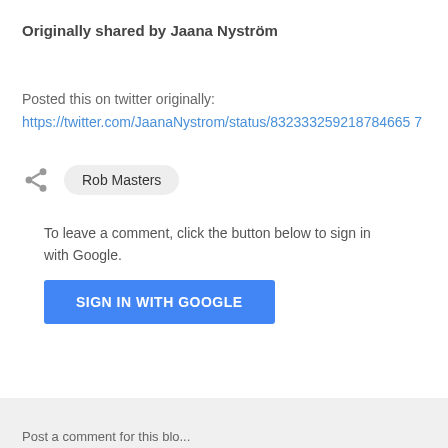Originally shared by Jaana Nyström
Posted this on twitter originally:
https://twitter.com/JaanaNystrom/status/832333259218784665 7
Rob Masters
To leave a comment, click the button below to sign in with Google.
SIGN IN WITH GOOGLE
Post a comment for this blog...